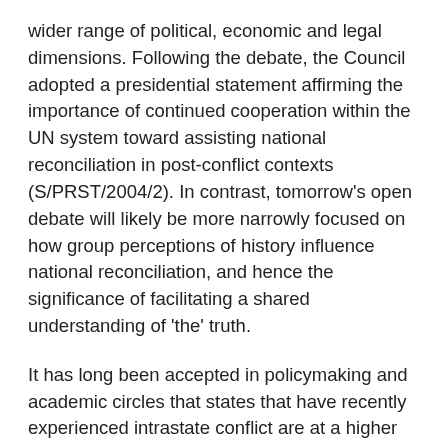wider range of political, economic and legal dimensions. Following the debate, the Council adopted a presidential statement affirming the importance of continued cooperation within the UN system toward assisting national reconciliation in post-conflict contexts (S/PRST/2004/2). In contrast, tomorrow's open debate will likely be more narrowly focused on how group perceptions of history influence national reconciliation, and hence the significance of facilitating a shared understanding of 'the' truth.
It has long been accepted in policymaking and academic circles that states that have recently experienced intrastate conflict are at a higher risk of future conflict than other states. This recurring reality has constituted much of the rationale for the creation and expansion of the peacebuilding architecture within the UN system, including efforts toward assisting political and economic development and establishing institutions for the rule of law. One of the areas Council